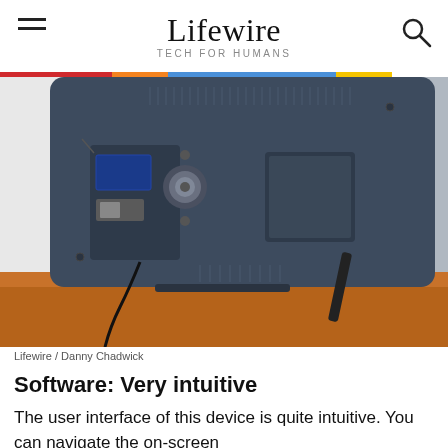Lifewire TECH FOR HUMANS
[Figure (photo): Back of a digital photo frame or monitor showing USB/SD card ports and cables, sitting on a wooden desk against a white wall. Photo credit: Lifewire / Danny Chadwick]
Lifewire / Danny Chadwick
Software: Very intuitive
The user interface of this device is quite intuitive. You can navigate the on-screen menus using the buttons on the directional...